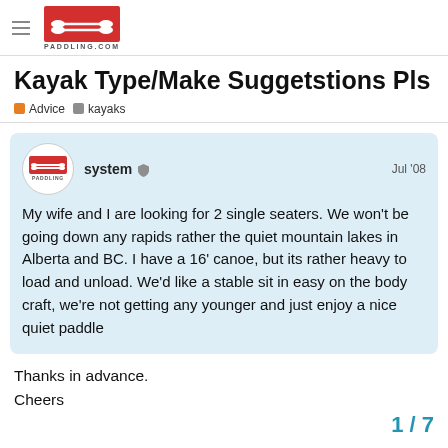Paddling.com
Kayak Type/Make Suggetstions Pls
Advice   kayaks
system  Jul '08

My wife and I are looking for 2 single seaters. We won't be going down any rapids rather the quiet mountain lakes in Alberta and BC. I have a 16' canoe, but its rather heavy to load and unload. We'd like a stable sit in easy on the body craft, we're not getting any younger and just enjoy a nice quiet paddle
Thanks in advance.
Cheers
1 / 7